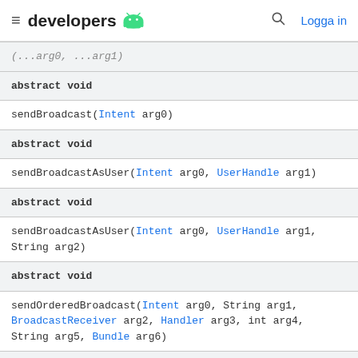developers [android logo] | [search] Logga in
| (…arg0, …arg1) |
| abstract void |
| sendBroadcast(Intent arg0) |
| abstract void |
| sendBroadcastAsUser(Intent arg0, UserHandle arg1) |
| abstract void |
| sendBroadcastAsUser(Intent arg0, UserHandle arg1, String arg2) |
| abstract void |
| sendOrderedBroadcast(Intent arg0, String arg1, BroadcastReceiver arg2, Handler arg3, int arg4, String arg5, Bundle arg6) |
| abstract void |
| sendOrderedBroadcast(Intent arg0, String arg1) |